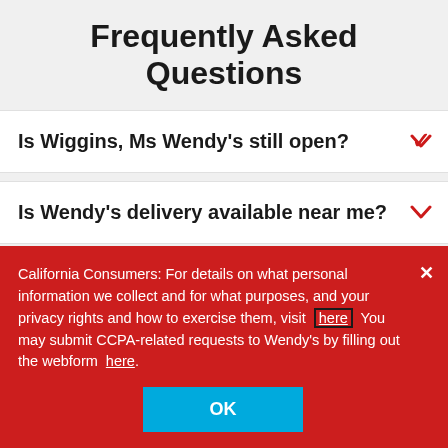Frequently Asked Questions
Is Wiggins, Ms Wendy's still open?
Is Wendy's delivery available near me?
California Consumers: For details on what personal information we collect and for what purposes, and your privacy rights and how to exercise them, visit here You may submit CCPA-related requests to Wendy's by filling out the webform here.